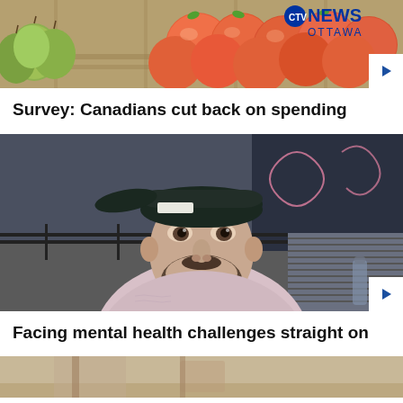[Figure (photo): News video thumbnail showing produce/fruit (pears and peaches/nectarines) at a market or grocery store, with CTV News Ottawa logo overlay and play button]
Survey: Canadians cut back on spending
[Figure (photo): News video thumbnail showing a young man with a beard wearing a backwards black cap and a pink knit sweater, sitting in what appears to be a café or restaurant, with a play button overlay]
Facing mental health challenges straight on
[Figure (photo): Partial thumbnail of a third news story, showing what appears to be an indoor scene]